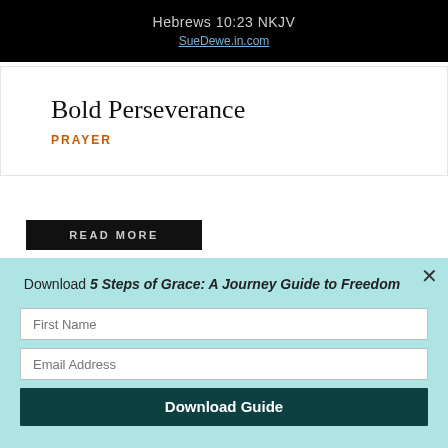[Figure (screenshot): Black banner with verse reference 'Hebrews 10:23 NKJV' and link 'SueDewe.in.com']
Bold Perseverance
PRAYER
[Figure (screenshot): Black 'READ MORE' button]
Download 5 Steps of Grace: A Journey Guide to Freedom
First Name
Email Address
Download Guide